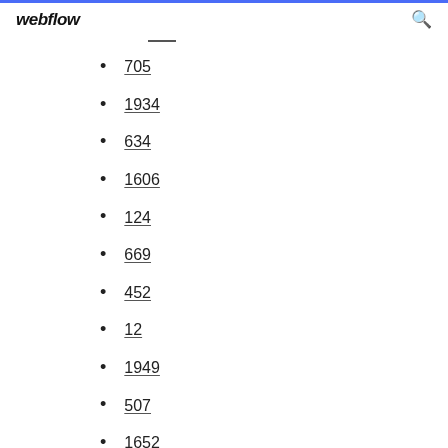webflow
705
1934
634
1606
124
669
452
12
1949
507
1652
947